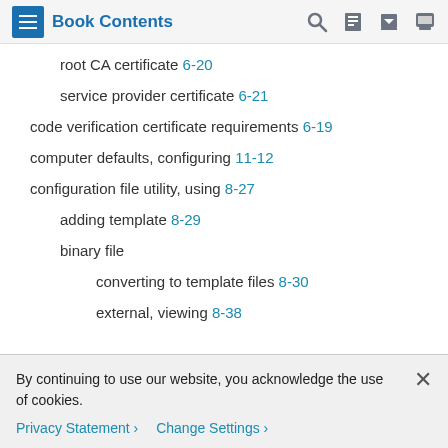Book Contents
root CA certificate 6-20
service provider certificate 6-21
code verification certificate requirements 6-19
computer defaults, configuring 11-12
configuration file utility, using 8-27
adding template 8-29
binary file
converting to template files 8-30
external, viewing 8-38
By continuing to use our website, you acknowledge the use of cookies.
Privacy Statement > Change Settings >